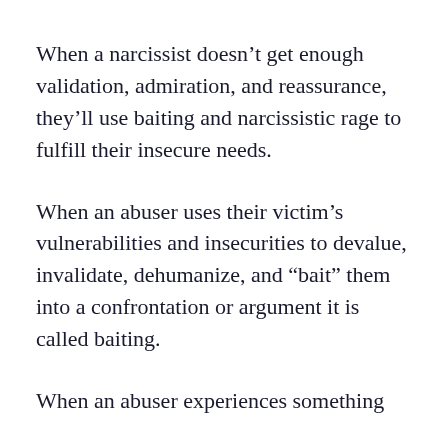When a narcissist doesn’t get enough validation, admiration, and reassurance, they’ll use baiting and narcissistic rage to fulfill their insecure needs.
When an abuser uses their victim’s vulnerabilities and insecurities to devalue, invalidate, dehumanize, and “bait” them into a confrontation or argument it is called baiting.
When an abuser experiences something